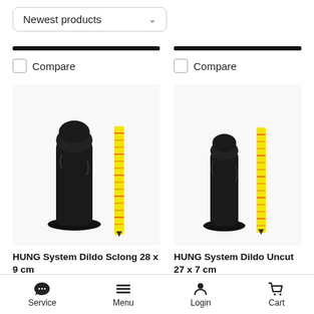Newest products
[Figure (photo): Product image of HUNG System Dildo Sclong 28 x 9 cm, black dildo with measurement ruler]
Compare
[Figure (photo): Product image of HUNG System Dildo Uncut 27 x 7 cm, black dildo with measurement ruler]
Compare
HUNG System Dildo Sclong 28 x 9 cm
HUNG System Dildo Uncut 27 x 7 cm
Service  Menu  Login  Cart